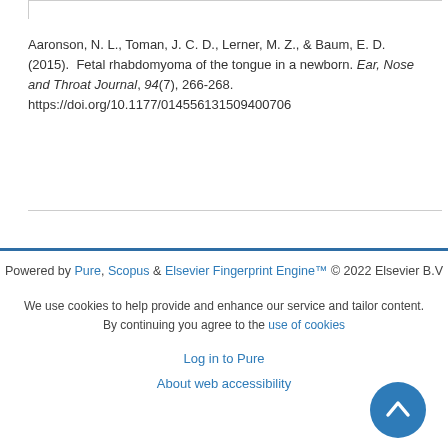Aaronson, N. L., Toman, J. C. D., Lerner, M. Z., & Baum, E. D. (2015). Fetal rhabdomyoma of the tongue in a newborn. Ear, Nose and Throat Journal, 94(7), 266-268. https://doi.org/10.1177/014556131509400706
Powered by Pure, Scopus & Elsevier Fingerprint Engine™ © 2022 Elsevier B.V

We use cookies to help provide and enhance our service and tailor content. By continuing you agree to the use of cookies

Log in to Pure

About web accessibility